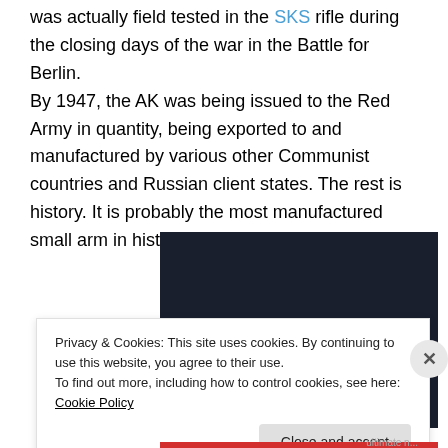was actually field tested in the SKS rifle during the closing days of the war in the Battle for Berlin.
By 1947, the AK was being issued to the Red Army in quantity, being exported to and manufactured by various other Communist countries and Russian client states. The rest is history. It is probably the most manufactured small arm in history.
[Figure (screenshot): Dark-background advertisement banner showing 'course with WordPress' text in teal italic and a teal 'Learn More' rounded button]
Privacy & Cookies: This site uses cookies. By continuing to use this website, you agree to their use.
To find out more, including how to control cookies, see here: Cookie Policy
Close and accept